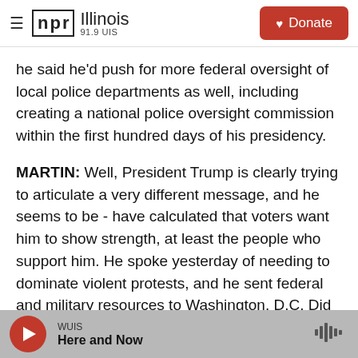NPR Illinois 91.9 UIS | Donate
he said he'd push for more federal oversight of local police departments as well, including creating a national police oversight commission within the first hundred days of his presidency.
MARTIN: Well, President Trump is clearly trying to articulate a very different message, and he seems to be - have calculated that voters want him to show strength, at least the people who support him. He spoke yesterday of needing to dominate violent protests, and he sent federal and military resources to Washington, D.C. Did Biden give you a sense of what he thinks voters want?
WUIS Here and Now